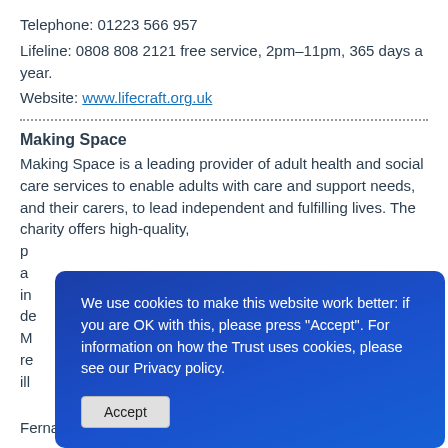Telephone: 01223 566 957
Lifeline: 0808 808 2121 free service, 2pm–11pm, 365 days a year.
Website: www.lifecraft.org.uk
Making Space
Making Space is a leading provider of adult health and social care services to enable adults with care and support needs, and their carers, to lead independent and fulfilling lives. The charity offers high-quality, p... a... i... d... M... r... il...
We use cookies to make this website work better: if you are OK with this, please press "Accept". For information on how the Trust uses cookies, please see our Privacy policy.
Accept
Fernand.